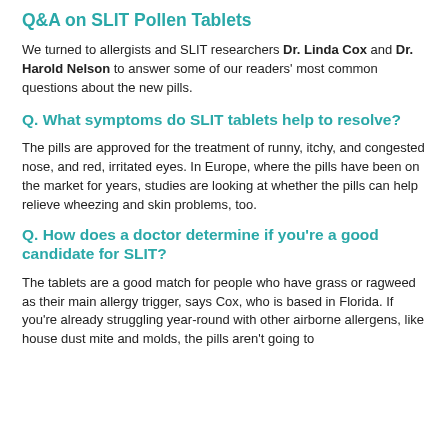Q&A on SLIT Pollen Tablets
We turned to allergists and SLIT researchers Dr. Linda Cox and Dr. Harold Nelson to answer some of our readers' most common questions about the new pills.
Q. What symptoms do SLIT tablets help to resolve?
The pills are approved for the treatment of runny, itchy, and congested nose, and red, irritated eyes. In Europe, where the pills have been on the market for years, studies are looking at whether the pills can help relieve wheezing and skin problems, too.
Q. How does a doctor determine if you're a good candidate for SLIT?
The tablets are a good match for people who have grass or ragweed as their main allergy trigger, says Cox, who is based in Florida. If you're already struggling year-round with other airborne allergens, like house dust mite and molds, the pills aren't going to